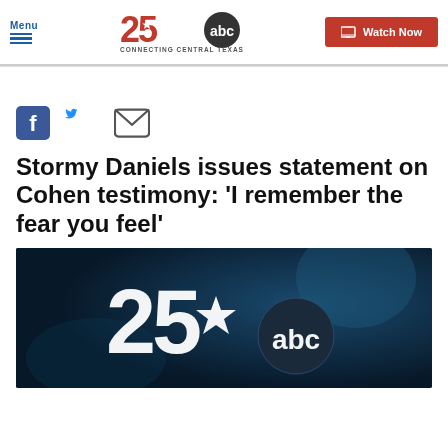Menu | KXXV 25 ABC Connecting Central Texas | Watch Now
[Figure (logo): 25 ABC KXXV logo with star and ABC circle, 'CONNECTING CENTRAL TEXAS' below]
[Figure (infographic): Social share icons: Facebook, Twitter, Email]
Stormy Daniels issues statement on Cohen testimony: 'I remember the fear you feel'
[Figure (photo): Dark blue thumbnail image showing 25 ABC logo watermark on a blurred background]